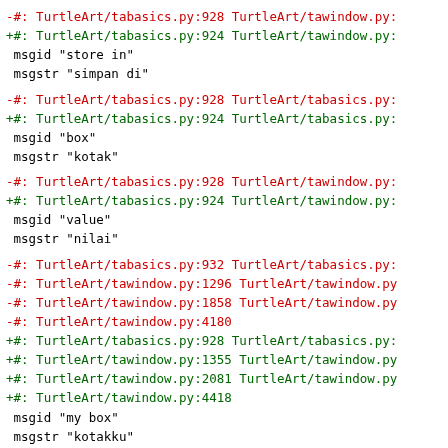-#: TurtleArt/tabasics.py:928 TurtleArt/tawindow.py:
+#: TurtleArt/tabasics.py:924 TurtleArt/tawindow.py:
 msgid "store in"
 msgstr "simpan di"
-#: TurtleArt/tabasics.py:928 TurtleArt/tabasics.py:
+#: TurtleArt/tabasics.py:924 TurtleArt/tabasics.py:
 msgid "box"
 msgstr "kotak"
-#: TurtleArt/tabasics.py:928 TurtleArt/tawindow.py:
+#: TurtleArt/tabasics.py:924 TurtleArt/tawindow.py:
 msgid "value"
 msgstr "nilai"
-#: TurtleArt/tabasics.py:932 TurtleArt/tabasics.py:
-#: TurtleArt/tawindow.py:1296 TurtleArt/tawindow.py
-#: TurtleArt/tawindow.py:1858 TurtleArt/tawindow.py
-#: TurtleArt/tawindow.py:4180
+#: TurtleArt/tabasics.py:928 TurtleArt/tabasics.py:
+#: TurtleArt/tawindow.py:1355 TurtleArt/tawindow.py
+#: TurtleArt/tawindow.py:2081 TurtleArt/tawindow.py
+#: TurtleArt/tawindow.py:4418
 msgid "my box"
 msgstr "kotakku"
-#: TurtleArt/tabasics.py:933 TurtleArt/tawindow.py:
+#: TurtleArt/tabasics.py:929 TurtleArt/tawindow.py:
 msgid "stores numeric value in named variable"
 msgstr "simpan nilai numerik dalam variabel bernam